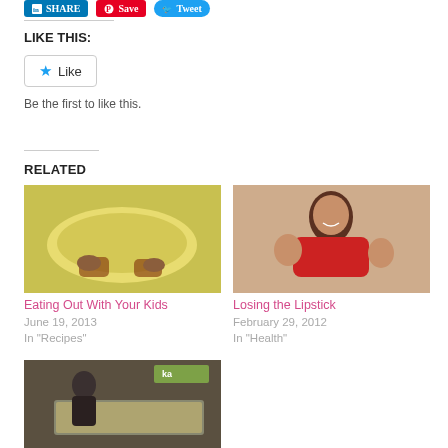[Figure (screenshot): Social share buttons: LinkedIn Share, Pinterest Save, Twitter Tweet]
LIKE THIS:
[Figure (screenshot): Like button widget with star icon]
Be the first to like this.
RELATED
[Figure (photo): Photo of a child's hands on a yellow plate with food - related to Eating Out With Your Kids]
Eating Out With Your Kids
June 19, 2013
In "Recipes"
[Figure (photo): Photo of a woman smiling with two young boys - related to Losing the Lipstick]
Losing the Lipstick
February 29, 2012
In "Health"
[Figure (photo): Photo of a man at a bakery display counter]